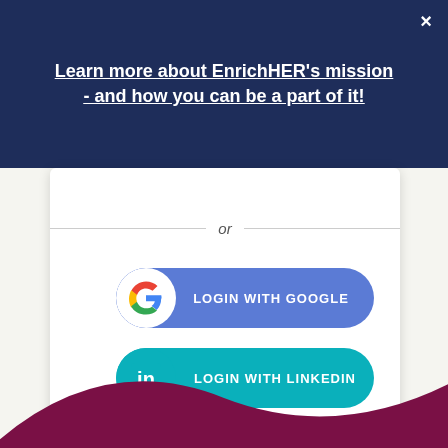Learn more about EnrichHER's mission - and how you can be a part of it!
or
[Figure (screenshot): A blue rounded button with Google 'G' logo icon on the left and text 'LOGIN WITH GOOGLE' in white capital letters]
[Figure (screenshot): A teal rounded button with LinkedIn 'in' logo icon on the left and text 'LOGIN WITH LINKEDIN' in white capital letters]
[Figure (illustration): A dark magenta/burgundy curved decorative shape at the bottom of the page, resembling a hill or wave]